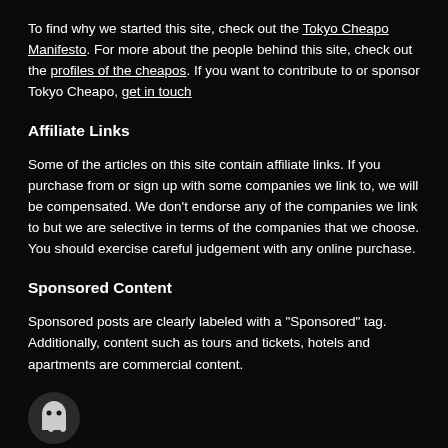To find why we started this site, check out the Tokyo Cheapo Manifesto. For more about the people behind this site, check out the profiles of the cheapos. If you want to contribute to or sponsor Tokyo Cheapo, get in touch
Affiliate Links
Some of the articles on this site contain affiliate links. If you purchase from or sign up with some companies we link to, we will be compensated. We don't endorse any of the companies we link to but we are selective in terms of the companies that we choose. You should exercise careful judgement with any online purchase.
Sponsored Content
Sponsored posts are clearly labeled with a "Sponsored" tag. Additionally, content such as tours and tickets, hotels and apartments are commercial content.
[Figure (logo): Tokyo Cheapo ghost logo at bottom left]